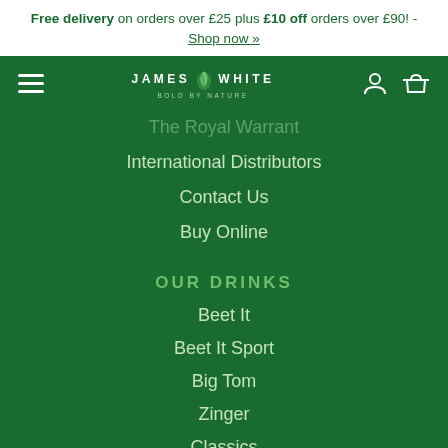Free delivery on orders over £25 plus £10 off orders over £90! - Shop now »
[Figure (logo): James White Bold By Nature logo with leaf icon, hamburger menu, user and basket icons on dark green navigation bar]
The Royal Warrant
International Distributors
Contact Us
Buy Online
OUR DRINKS
Beet It
Beet It Sport
Big Tom
Zinger
Classics